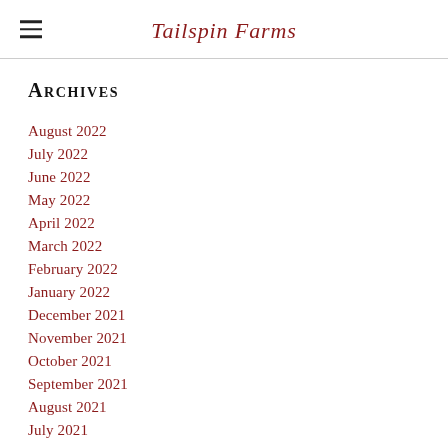Tailspin Farms
Archives
August 2022
July 2022
June 2022
May 2022
April 2022
March 2022
February 2022
January 2022
December 2021
November 2021
October 2021
September 2021
August 2021
July 2021
June 2021